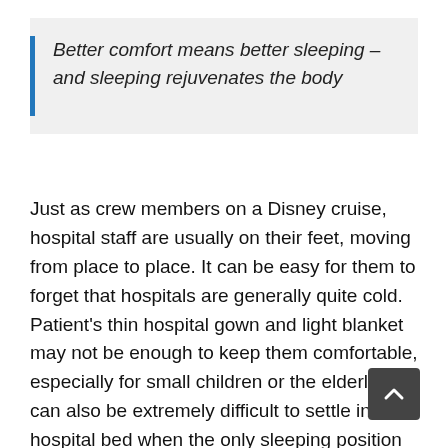Better comfort means better sleeping – and sleeping rejuvenates the body
Just as crew members on a Disney cruise, hospital staff are usually on their feet, moving from place to place. It can be easy for them to forget that hospitals are generally quite cold. Patient's thin hospital gown and light blanket may not be enough to keep them comfortable, especially for small children or the elderly. It can also be extremely difficult to settle in a hospital bed when the only sleeping position is on the back. Better comfort means better sleeping – and sleeping rejuvenates the body. With the continual noise, such as talking